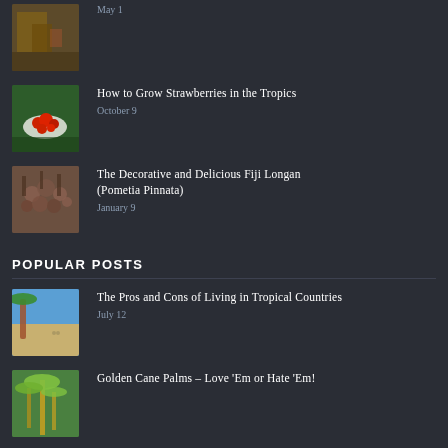[Figure (photo): Partial top post thumbnail - patio/indoor scene]
May 1
[Figure (photo): Bowl of strawberries on table with green background]
How to Grow Strawberries in the Tropics
October 9
[Figure (photo): Fiji Longan (Pometia Pinnata) fruit clusters on tree]
The Decorative and Delicious Fiji Longan (Pometia Pinnata)
January 9
POPULAR POSTS
[Figure (photo): Tropical beach with palm trees and two people walking]
The Pros and Cons of Living in Tropical Countries
July 12
[Figure (photo): Golden Cane Palm trees]
Golden Cane Palms – Love 'Em or Hate 'Em!